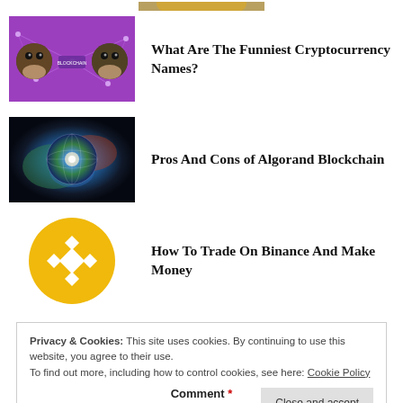[Figure (photo): Partial view of a gold coin at the top of the page]
[Figure (photo): Purple background with cartoon ape faces and blockchain network graphic, related to funny cryptocurrency names article]
What Are The Funniest Cryptocurrency Names?
[Figure (photo): Colorful globe/earth surrounded by a network mesh on a cosmic background, related to Algorand Blockchain article]
Pros And Cons of Algorand Blockchain
[Figure (logo): Binance logo — gold/yellow circle with white diamond/BNB symbol]
How To Trade On Binance And Make Money
Privacy & Cookies: This site uses cookies. By continuing to use this website, you agree to their use.
To find out more, including how to control cookies, see here: Cookie Policy
Close and accept
Comment *